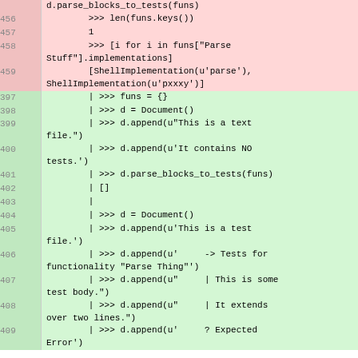Code listing with line numbers showing Python doctest code. Lines 456-459 have red background (failing/removed tests), lines 397-409 have green background (passing/added tests).